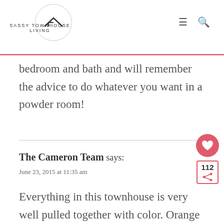SASSY TOWNHOUSE LIVING
bedroom and bath and will remember the advice to do whatever you want in a powder room!
The Cameron Team says:
June 23, 2015 at 11:35 am
Everything in this townhouse is very well pulled together with color. Orange can b a hard color to work with, because too